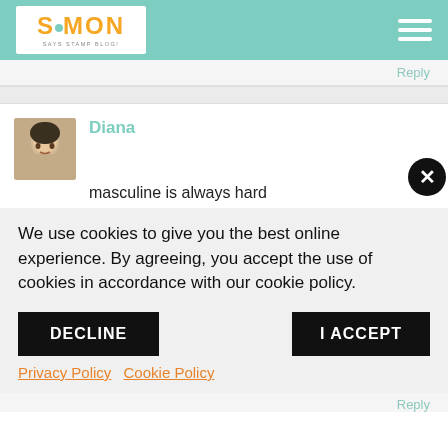Simon Says Stamp Blog
Reply
Diana
masculine is always hard
We use cookies to give you the best online experience. By agreeing, you accept the use of cookies in accordance with our cookie policy.
DECLINE
I ACCEPT
Privacy Policy   Cookie Policy
Reply